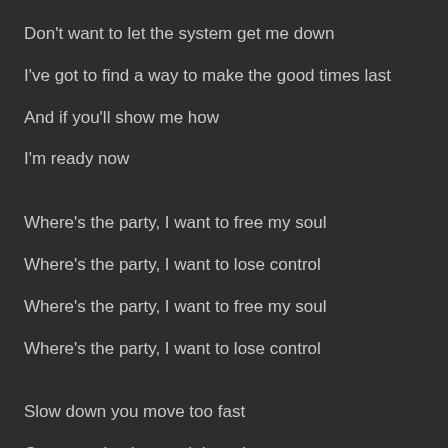Don't want to let the system get me down
I've got to find a way to make the good times last
And if you'll show me how
I'm ready now
Where's the party, I want to free my soul
Where's the party, I want to lose control
Where's the party, I want to free my soul
Where's the party, I want to lose control
Slow down you move too fast
Gonna make the good times last
Gonna let my hair hang down